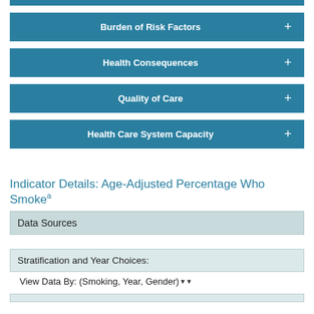Burden of Risk Factors
Health Consequences
Quality of Care
Health Care System Capacity
Indicator Details: Age-Adjusted Percentage Who Smokeᵃ
Data Sources
Stratification and Year Choices:
View Data By: (Smoking, Year, Gender)